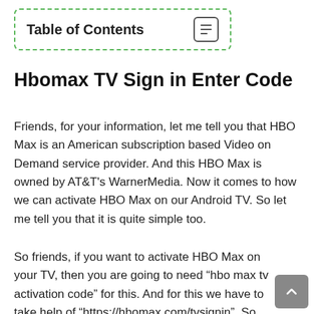Table of Contents
Hbomax TV Sign in Enter Code
Friends, for your information, let me tell you that HBO Max is an American subscription based Video on Demand service provider. And this HBO Max is owned by AT&T's WarnerMedia. Now it comes to how we can activate HBO Max on our Android TV. So let me tell you that it is quite simple too.
So friends, if you want to activate HBO Max on your TV, then you are going to need “hbo max tv activation code” for this. And for this we have to take help of “https://hbomax.com/tvsignin”. So